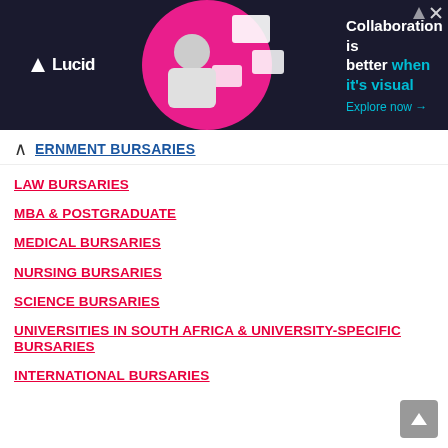[Figure (screenshot): Lucid advertisement banner: dark navy background with magenta circle graphic, person at laptop, text 'Collaboration is better when it's visual. Explore now →']
ERNMENT BURSARIES
LAW BURSARIES
MBA & POSTGRADUATE
MEDICAL BURSARIES
NURSING BURSARIES
SCIENCE BURSARIES
UNIVERSITIES IN SOUTH AFRICA & UNIVERSITY-SPECIFIC BURSARIES
INTERNATIONAL BURSARIES